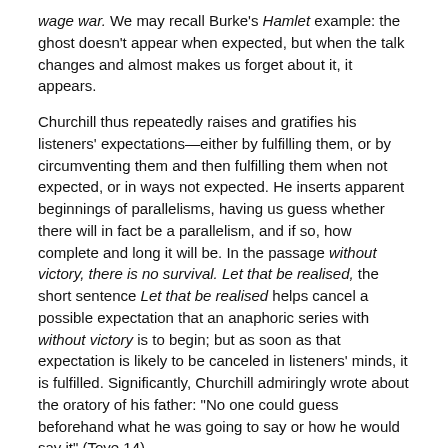wage war. We may recall Burke's Hamlet example: the ghost doesn't appear when expected, but when the talk changes and almost makes us forget about it, it appears.
Churchill thus repeatedly raises and gratifies his listeners' expectations—either by fulfilling them, or by circumventing them and then fulfilling them when not expected, or in ways not expected. He inserts apparent beginnings of parallelisms, having us guess whether there will in fact be a parallelism, and if so, how complete and long it will be. In the passage without victory, there is no survival. Let that be realised, the short sentence Let that be realised helps cancel a possible expectation that an anaphoric series with without victory is to begin; but as soon as that expectation is likely to be canceled in listeners' minds, it is fulfilled. Significantly, Churchill admiringly wrote about the oratory of his father: "No one could guess beforehand what he was going to say or how he would say it" (Toye 14).
In Counter-Statement, Burke dissects specimens of "expert prose" (133), highlighting the prevalence of "dissimilar balances"—sequences where units are "intellectually equivalent" but "formally diverse." In Churchill's speech we find the converse phenomenon: recurrent words and forms that turn out to have different meanings or functions. Consider this anaphoric series with its apparently